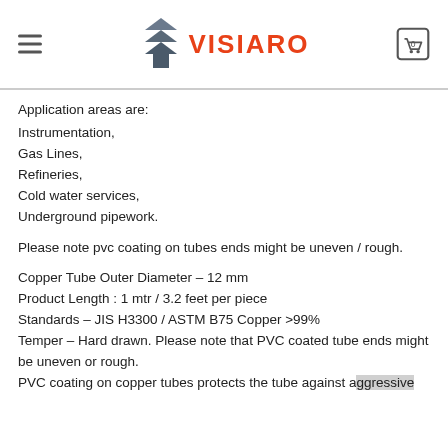VISIARO
Application areas are:
Instrumentation,
Gas Lines,
Refineries,
Cold water services,
Underground pipework.
Please note pvc coating on tubes ends might be uneven / rough.
Copper Tube Outer Diameter – 12 mm
Product Length : 1 mtr / 3.2 feet per piece
Standards – JIS H3300 / ASTM B75 Copper >99%
Temper – Hard drawn. Please note that PVC coated tube ends might be uneven or rough.
PVC coating on copper tubes protects the tube against aggressive